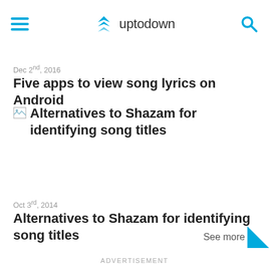uptodown
Dec 2nd, 2016
Five apps to view song lyrics on Android
[Figure (other): Broken image placeholder for article thumbnail]
Alternatives to Shazam for identifying song titles
Oct 3rd, 2014
Alternatives to Shazam for identifying song titles
See more
ADVERTISEMENT